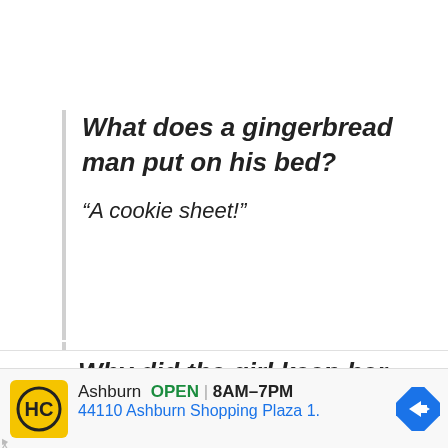What does a gingerbread man put on his bed?
“A cookie sheet!”
Why did the girl keep her
Ashburn  OPEN | 8AM–7PM  44110 Ashburn Shopping Plaza 1.